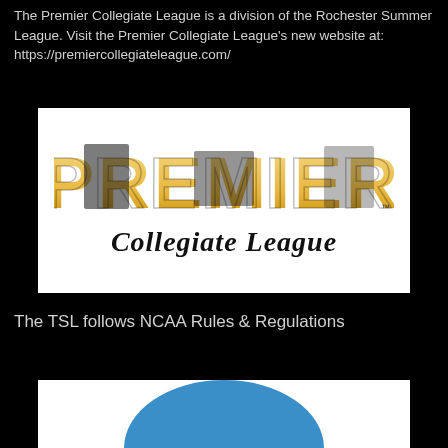The Premier Collegiate League is a division of the Rochester Summer League. Visit the Premier Collegiate League's new website at: https://premiercollegiateleague.com/
[Figure (logo): Premier Collegiate League logo — 'PREMIER' in large gold/tan block letters with black shadow details, 'Collegiate League' in black serif italic text below]
The TSL follows NCAA Rules & Regulations
[Figure (logo): Partial logo visible at bottom of page — white background with a large blue circle/dome shape visible at top]